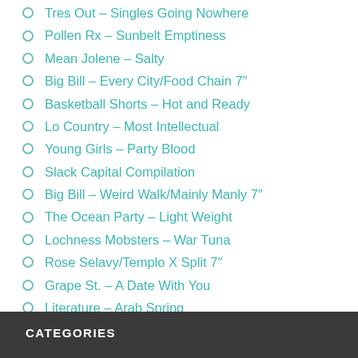Tres Out – Singles Going Nowhere
Pollen Rx – Sunbelt Emptiness
Mean Jolene – Salty
Big Bill – Every City/Food Chain 7"
Basketball Shorts – Hot and Ready
Lo Country – Most Intellectual
Young Girls – Party Blood
Slack Capital Compilation
Big Bill – Weird Walk/Mainly Manly 7"
The Ocean Party – Light Weight
Lochness Mobsters – War Tuna
Rose Selavy/Templo X Split 7"
Grape St. – A Date With You
Literature – Arab Spring
Young Girls – S/T 7" EP
Shivery Shakes – Three Waves...
Ramesh – The King
CATEGORIES